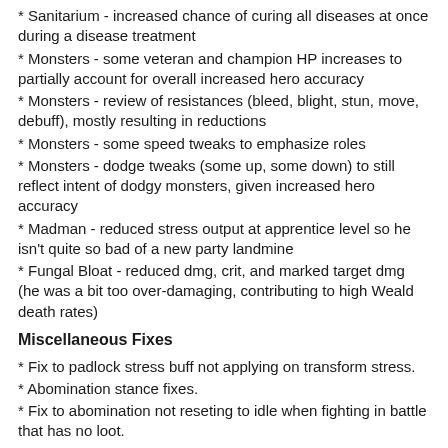Sanitarium - increased chance of curing all diseases at once during a disease treatment
Monsters - some veteran and champion HP increases to partially account for overall increased hero accuracy
Monsters - review of resistances (bleed, blight, stun, move, debuff), mostly resulting in reductions
Monsters - some speed tweaks to emphasize roles
Monsters - dodge tweaks (some up, some down) to still reflect intent of dodgy monsters, given increased hero accuracy
Madman - reduced stress output at apprentice level so he isn't quite so bad of a new party landmine
Fungal Bloat - reduced dmg, crit, and marked target dmg (he was a bit too over-damaging, contributing to high Weald death rates)
Miscellaneous Fixes
Fix to padlock stress buff not applying on transform stress.
Abomination stance fixes.
Fix to abomination not reseting to idle when fighting in battle that has no loot.
Restricted hero class can swap out eachother in quest select when no other restrictions will take place.
Clamp stress when pending affliction to avoid heart attack before affliction is applied.
Removed the ability to use items when screen is not idle.
Fix to instant skill buffs carying over when transforming because of affliction and selected skill being set.